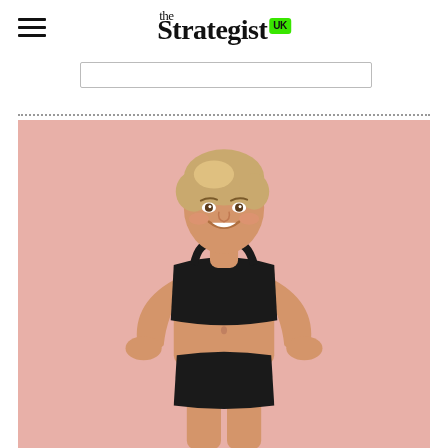the Strategist UK
[Figure (photo): Woman smiling, posing with hands on hips wearing a black sports bra and black underwear against a pink background]